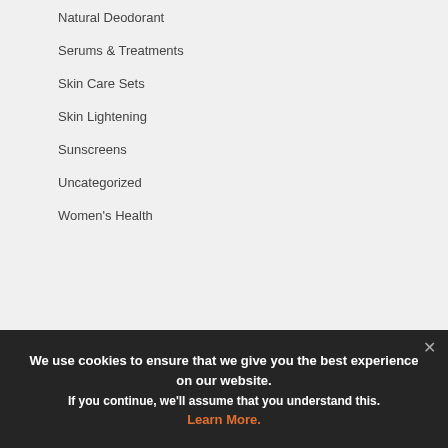Natural Deodorant
Serums & Treatments
Skin Care Sets
Skin Lightening
Sunscreens
Uncategorized
Women's Health
[Figure (infographic): Row of 5 dark grey circular social media icons: Facebook, Twitter, Instagram, Pinterest, Email]
[Figure (infographic): Payment method logos: VISA, Mastercard, American Express, Discover]
Information on the PhaMix.com internet site is intended to heighten awareness of health information and does not suggest diagnosis or treatment. Information is not a substitute for medical attention. If you have or suspect that you have a medical problem or are currently taking any medications, please contact your health-care professional to seek appropriate medical advice and treatment. Information about many products such as vitamins, homeopathic, herbal remedies and dietary supplements have not been evaluated by
We use cookies to ensure that we give you the best experience on our website.
If you continue, we'll assume that you understand this.
Learn More.
Report Fix · Contact Us · FAQ · Privacy Policy · Site Map · Shipping Information · Accessibility
© 2006 - 2023 PhaMix - All Rights Reserved. 131 Water Street, Vancouver BC V6B 2M4. THIS IS NOT A RETAIL LOCATION! / Log In